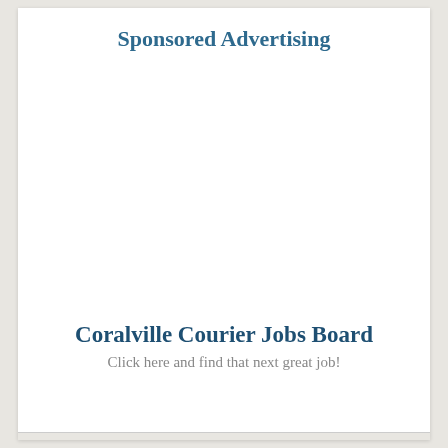Sponsored Advertising
Coralville Courier Jobs Board
Click here and find that next great job!